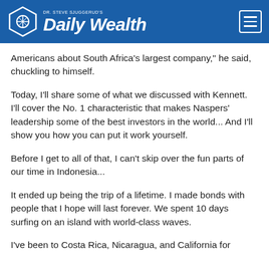DR. STEVE SJUGGERUD'S DailyWealth
Americans about South Africa's largest company," he said, chuckling to himself.
Today, I'll share some of what we discussed with Kennett. I'll cover the No. 1 characteristic that makes Naspers' leadership some of the best investors in the world... And I'll show you how you can put it work yourself.
Before I get to all of that, I can't skip over the fun parts of our time in Indonesia...
It ended up being the trip of a lifetime. I made bonds with people that I hope will last forever. We spent 10 days surfing on an island with world-class waves.
I've been to Costa Rica, Nicaragua, and California for